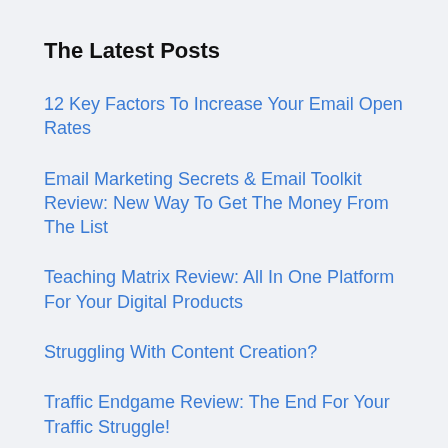The Latest Posts
12 Key Factors To Increase Your Email Open Rates
Email Marketing Secrets & Email Toolkit Review: New Way To Get The Money From The List
Teaching Matrix Review: All In One Platform For Your Digital Products
Struggling With Content Creation?
Traffic Endgame Review: The End For Your Traffic Struggle!